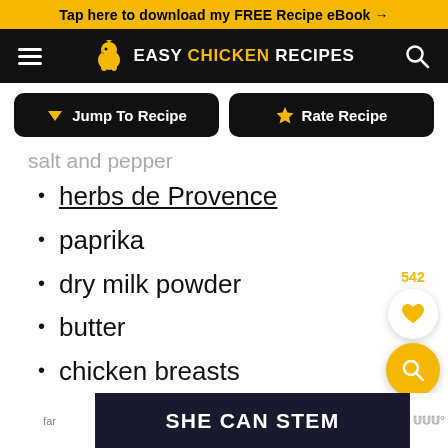Tap here to download my FREE Recipe eBook →
EASY CHICKEN RECIPES
Jump To Recipe  |  Rate Recipe
salt and pepper
herbs de Provence
paprika
dry milk powder
butter
chicken breasts
That's it! Creating a delicious meal that the whole family will love doesn't need a tonne of fancy
[Figure (screenshot): SHE CAN STEM advertisement banner at the bottom of the page]